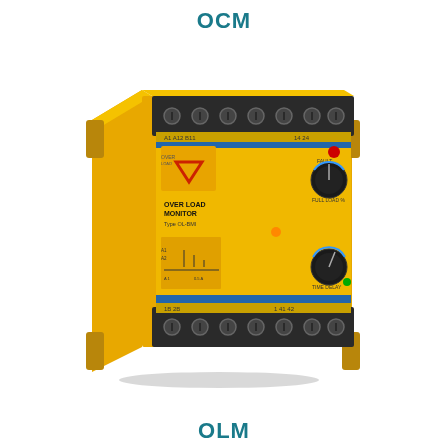OCM
[Figure (photo): An Over Load Monitor (OLM) relay device in a yellow housing with black terminal connectors on top and bottom. The front face shows a logo, two black rotary knobs, an LED indicator, and label text reading 'OVER LOAD MONITOR Type OL-BMI'. The device is mounted on a DIN rail bracket.]
OLM